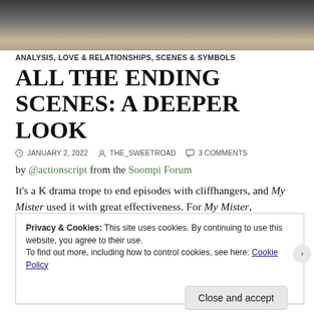[Figure (photo): Dark photograph showing a table and bright window/light in background]
ANALYSIS, LOVE & RELATIONSHIPS, SCENES & SYMBOLS
ALL THE ENDING SCENES: A DEEPER LOOK
JANUARY 2, 2022   THE_SWEETROAD   3 COMMENTS
by @actionscript from the Soompi Forum
It's a K drama trope to end episodes with cliffhangers, and My Mister used it with great effectiveness. For My Mister,
Privacy & Cookies: This site uses cookies. By continuing to use this website, you agree to their use. To find out more, including how to control cookies, see here: Cookie Policy
Close and accept